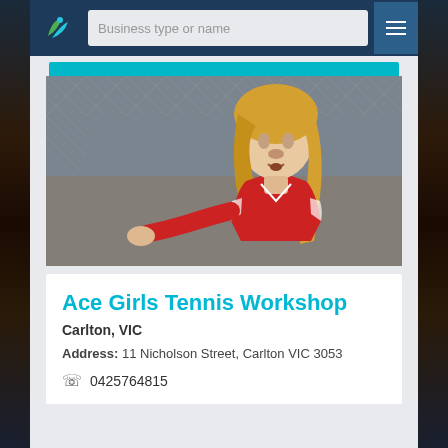Business type or name
[Figure (photo): Blonde woman in red sportswear playing tennis at a court with chain-link fence in background]
Ace Girls Tennis Workshop
Carlton, VIC
Address: 11 Nicholson Street, Carlton VIC 3053
0425764815